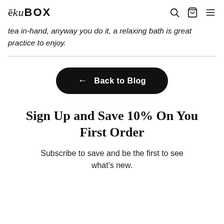ēkuBOX
tea in-hand, anyway you do it, a relaxing bath is great practice to enjoy.
[Figure (other): Horizontal divider line]
← Back to Blog
Sign Up and Save 10% On You First Order
Subscribe to save and be the first to see what's new.